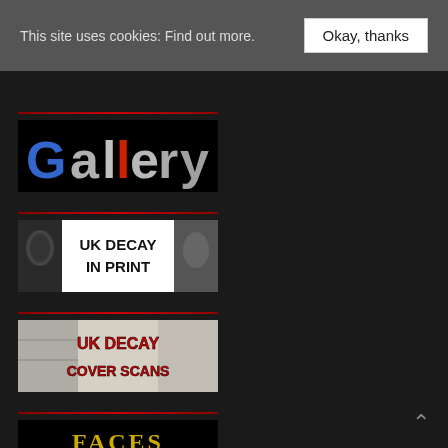This site uses cookies: Find out more.
Okay, thanks
[Figure (illustration): Gallery banner with stylized text 'Gallery' in silver/chrome on black background with red and blue accents]
[Figure (illustration): UK Decay In Print banner: white background with bold black text 'UK DECAY IN PRINT', flanked by dark photo panels]
[Figure (illustration): UK Decay Cover Scans banner: white/grey background with bold red text 'UK DECAY COVER SCANS' over collage imagery]
[Figure (illustration): Faces Gallery banner: black background with gold/yellow gothic-style text 'FACES GALLERY']
[Figure (illustration): Luton Post-Punk banner: brownish background with orange bold text 'LUTON POST-PUNK']